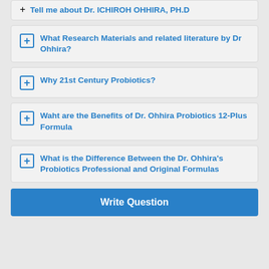Tell me about Dr. ICHIROH OHHIRA, PH.D
What Research Materials and related literature by Dr Ohhira?
Why 21st Century Probiotics?
Waht are the Benefits of Dr. Ohhira Probiotics 12-Plus Formula
What is the Difference Between the Dr. Ohhira's Probiotics Professional and Original Formulas
Write Question